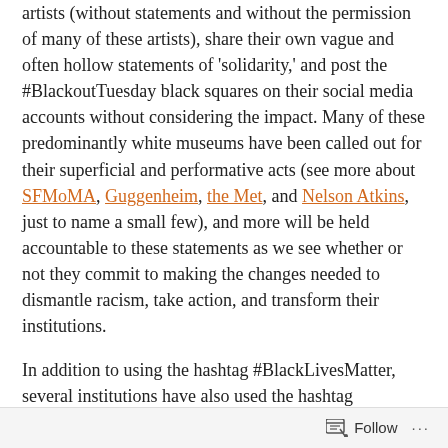artists (without statements and without the permission of many of these artists), share their own vague and often hollow statements of 'solidarity,' and post the #BlackoutTuesday black squares on their social media accounts without considering the impact. Many of these predominantly white museums have been called out for their superficial and performative acts (see more about SFMoMA, Guggenheim, the Met, and Nelson Atkins, just to name a small few), and more will be held accountable to these statements as we see whether or not they commit to making the changes needed to dismantle racism, take action, and transform their institutions.

In addition to using the hashtag #BlackLivesMatter, several institutions have also used the hashtag #MuseumsAreNotNeutral. While we never claim to control the use of the #MuseumsAreNotNeutral hashtag, it has certainly represented a grassroots movement for all of those who have been raising the troubling of museum neutrality...
Follow ···